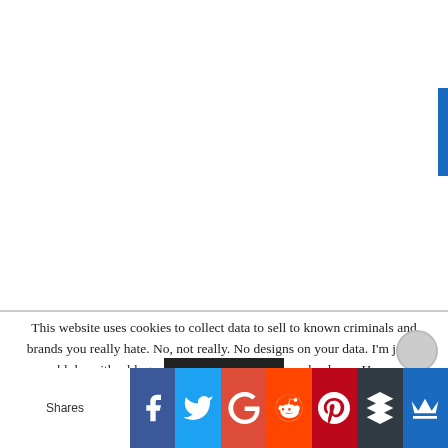[Figure (other): Blue vertical tab/button on the right edge of the page]
This website uses cookies to collect data to sell to known criminals and brands you really hate. No, not really. No designs on your data. I'm just a bloke with a blog who can barely tie his own shoelaces. Hope
[Figure (infographic): Social share bar at the bottom with Facebook, Twitter, Google+, Reddit, Pinterest, Buffer, and Crown share buttons, with a 'Shares' label on the left]